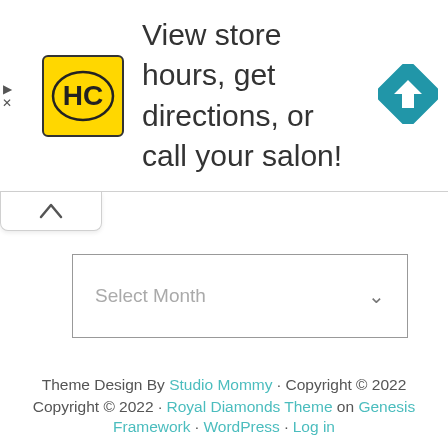[Figure (screenshot): Advertisement banner with HC (Hair Club) yellow logo on left, text 'View store hours, get directions, or call your salon!' in center, blue navigation/directions diamond icon on right, and small play/close controls on far left edge.]
[Figure (screenshot): UI collapse/accordion tab with upward chevron arrow, white background with subtle border, positioned below the ad banner.]
Select Month
Theme Design By Studio Mommy · Copyright © 2022 Copyright © 2022 · Royal Diamonds Theme on Genesis Framework · WordPress · Log in